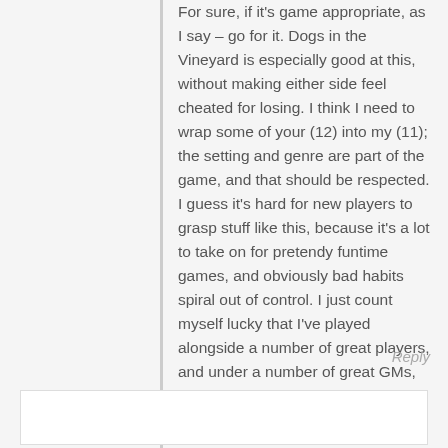For sure, if it's game appropriate, as I say – go for it. Dogs in the Vineyard is especially good at this, without making either side feel cheated for losing. I think I need to wrap some of your (12) into my (11); the setting and genre are part of the game, and that should be respected. I guess it's hard for new players to grasp stuff like this, because it's a lot to take on for pretendy funtime games, and obviously bad habits spiral out of control. I just count myself lucky that I've played alongside a number of great players, and under a number of great GMs, who've taught me this stuff through their actions.
Reply